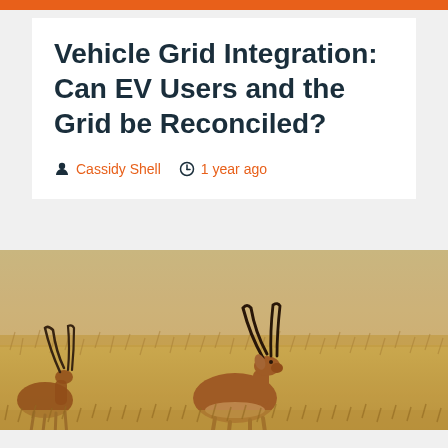Vehicle Grid Integration: Can EV Users and the Grid be Reconciled?
Cassidy Shell   1 year ago
[Figure (photo): Photo of impalas/gazelles running across a savanna grassland with dry golden grass in the background]